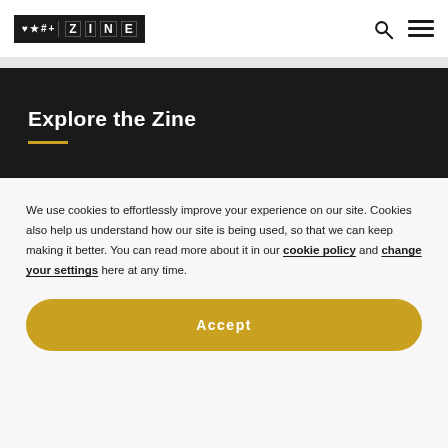♥★#+ ZINE [logo] with search and menu icons
Explore the Zine
We use cookies to effortlessly improve your experience on our site. Cookies also help us understand how our site is being used, so that we can keep making it better. You can read more about it in our cookie policy and change your settings here at any time.
Accept